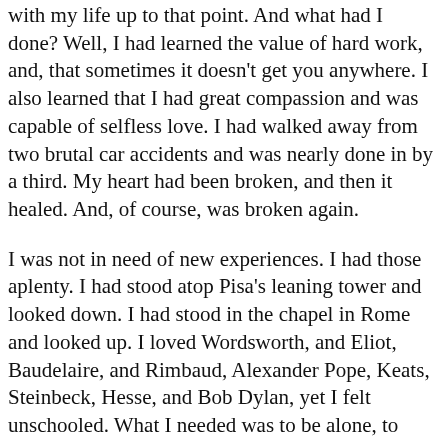with my life up to that point. And what had I done? Well, I had learned the value of hard work, and, that sometimes it doesn't get you anywhere. I also learned that I had great compassion and was capable of selfless love. I had walked away from two brutal car accidents and was nearly done in by a third. My heart had been broken, and then it healed. And, of course, was broken again.
I was not in need of new experiences. I had those aplenty. I had stood atop Pisa's leaning tower and looked down. I had stood in the chapel in Rome and looked up. I loved Wordsworth, and Eliot, Baudelaire, and Rimbaud, Alexander Pope, Keats, Steinbeck, Hesse, and Bob Dylan, yet I felt unschooled. What I needed was to be alone, to